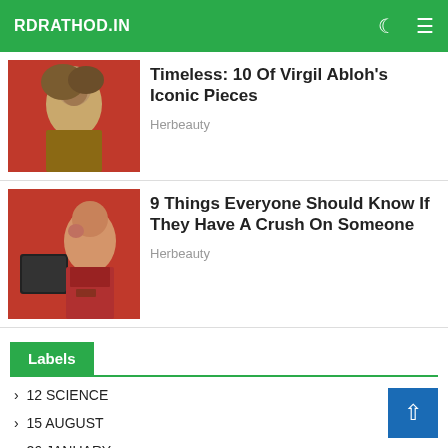RDRATHOD.IN
[Figure (photo): Thumbnail of Mona Lisa painting on red background]
Timeless: 10 Of Virgil Abloh's Iconic Pieces
Herbeauty
[Figure (photo): Young woman with red hair on red background holding something, looking distressed]
9 Things Everyone Should Know If They Have A Crush On Someone
Herbeauty
Labels
> 12 SCIENCE
> 15 AUGUST
> 26 JANUARY